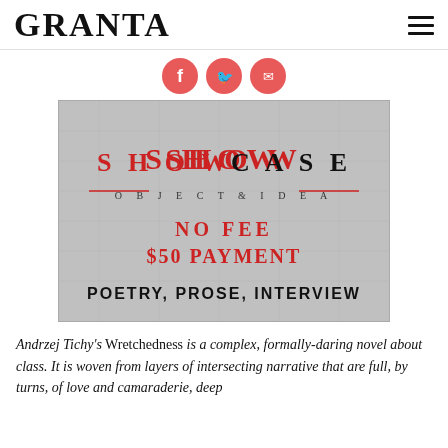GRANTA
[Figure (screenshot): Showcase: Object & Idea promotional image with text: SHOWCASE OBJECT & IDEA, NO FEE, $50 PAYMENT, POETRY, PROSE, INTERVIEW on a grey textured background]
Andrzej Tichy's Wretchedness is a complex, formally-daring novel about class. It is woven from layers of intersecting narrative that are full, by turns, of love and camaraderie, deep